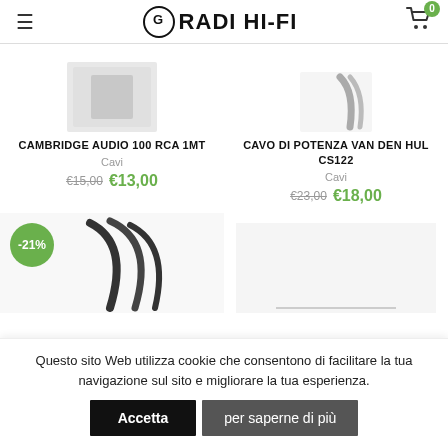GRADI HI-FI
[Figure (photo): Product image for Cambridge Audio 100 RCA 1MT cable (partially cropped, light gray background)]
CAMBRIDGE AUDIO 100 RCA 1MT
Cavi
€15,00 €13,00
[Figure (photo): Product image for Cavo Di Potenza Van Den Hul CS122 cable (silver/metallic cables visible)]
CAVO DI POTENZA VAN DEN HUL CS122
Cavi
€23,00 €18,00
[Figure (photo): Product image with -21% discount badge, showing black cables (partially cropped)]
Questo sito Web utilizza cookie che consentono di facilitare la tua navigazione sul sito e migliorare la tua esperienza.
Accetta
per saperne di più